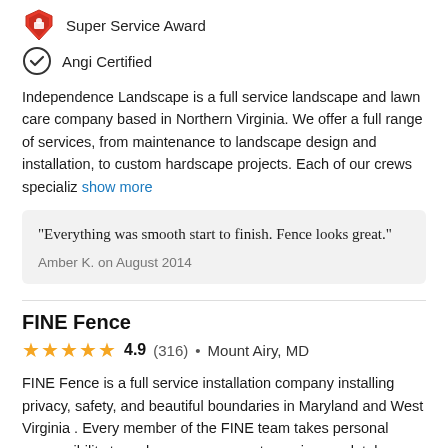[Figure (logo): Super Service Award shield/trophy icon]
Super Service Award
[Figure (logo): Angi Certified checkmark circle icon]
Angi Certified
Independence Landscape is a full service landscape and lawn care company based in Northern Virginia. We offer a full range of services, from maintenance to landscape design and installation, to custom hardscape projects. Each of our crews specializ show more
"Everything was smooth start to finish. Fence looks great."
Amber K. on August 2014
FINE Fence
4.9 (316) • Mount Airy, MD
FINE Fence is a full service installation company installing privacy, safety, and beautiful boundaries in Maryland and West Virginia . Every member of the FINE team takes personal responsibility to make sure every customer is completely satisfied with t show more